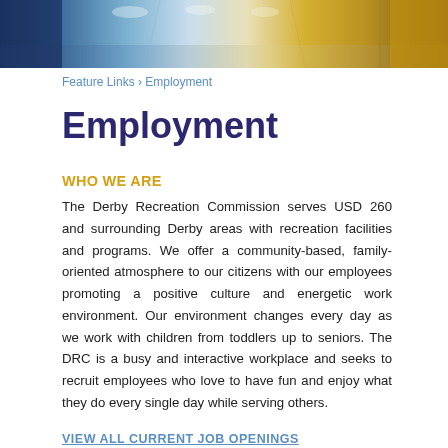[Figure (photo): Banner photo of a recreation facility/gymnasium interior with blue and yellow/gold tones]
Feature Links › Employment
Employment
WHO WE ARE
The Derby Recreation Commission serves USD 260 and surrounding Derby areas with recreation facilities and programs. We offer a community-based, family-oriented atmosphere to our citizens with our employees promoting a positive culture and energetic work environment. Our environment changes every day as we work with children from toddlers up to seniors. The DRC is a busy and interactive workplace and seeks to recruit employees who love to have fun and enjoy what they do every single day while serving others.
VIEW ALL CURRENT JOB OPENINGS